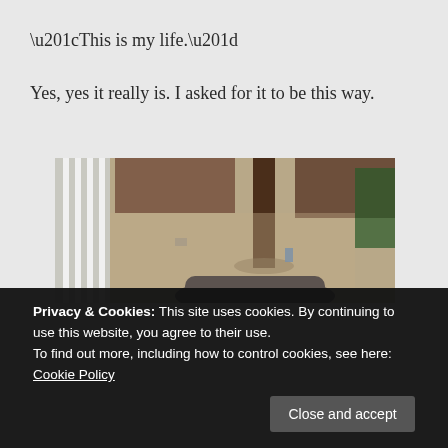“This is my life.”
Yes, yes it really is. I asked for it to be this way.
[Figure (photo): A tilted interior photo showing a room with white railing/banister on the left, a carpeted floor, furniture legs, and what appears to be a person in dark clothing lying or sitting on the floor in the foreground.]
Privacy & Cookies: This site uses cookies. By continuing to use this website, you agree to their use.
To find out more, including how to control cookies, see here: Cookie Policy
Close and accept